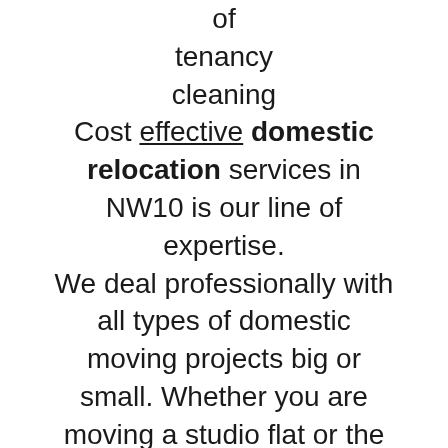of tenancy cleaning Cost effective domestic relocation services in NW10 is our line of expertise. We deal professionally with all types of domestic moving projects big or small. Whether you are moving a studio flat or the contents of an entire four bedroom family home, you can trust us completely that we have the right service at the right price